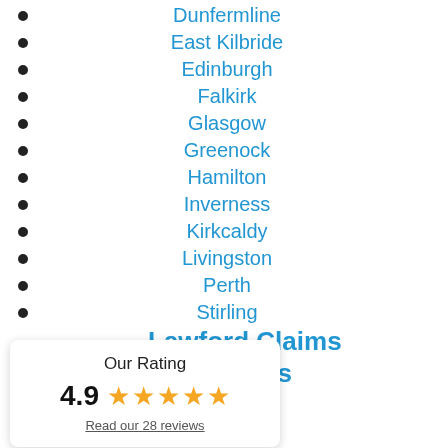Dunfermline
East Kilbride
Edinburgh
Falkirk
Glasgow
Greenock
Hamilton
Inverness
Kirkcaldy
Livingston
Perth
Stirling
Lawford Claims
st Tollcross
nburgh
otland
3 9QN
Our Rating
4.9 ★★★★★
Read our 28 reviews